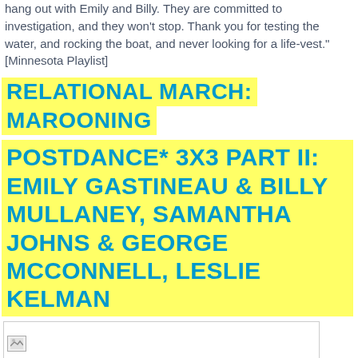hang out with Emily and Billy. They are committed to investigation, and they won't stop. Thank you for testing the water, and rocking the boat, and never looking for a life-vest." [Minnesota Playlist]
RELATIONAL MARCH: MAROONING
POSTDANCE* 3X3 PART II: EMILY GASTINEAU & BILLY MULLANEY, SAMANTHA JOHNS & GEORGE MCCONNELL, LESLIE KELMAN
[Figure (photo): Placeholder image box]